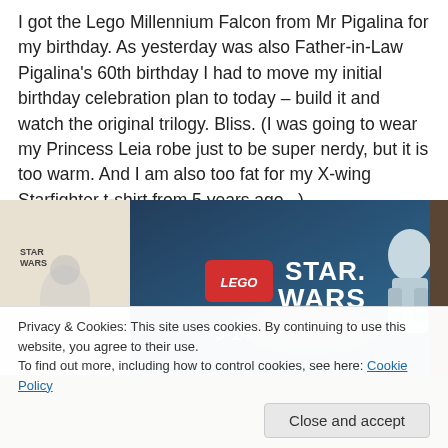I got the Lego Millennium Falcon from Mr Pigalina for my birthday. As yesterday was also Father-in-Law Pigalina's 60th birthday I had to move my initial birthday celebration plan to today – build it and watch the original trilogy. Bliss. (I was going to wear my Princess Leia robe just to be super nerdy, but it is too warm. And I am also too fat for my X-wing Starfighter t-shirt from 5 years ago...)
[Figure (photo): Photo of a Lego Star Wars box showing the Star Wars logo with LEGO branding, age 9-14, and a stormtrooper character on the right side]
Privacy & Cookies: This site uses cookies. By continuing to use this website, you agree to their use.
To find out more, including how to control cookies, see here: Cookie Policy
Close and accept